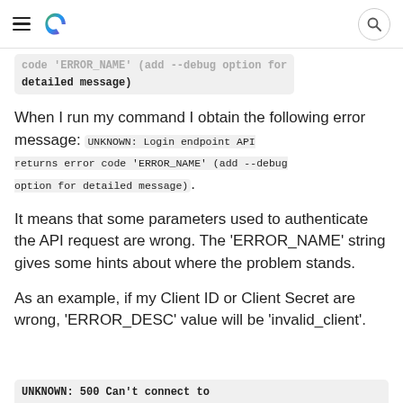[hamburger menu] [C logo] [search icon]
code 'ERROR_NAME' (add --debug option for detailed message)
When I run my command I obtain the following error message: UNKNOWN: Login endpoint API returns error code 'ERROR_NAME' (add --debug option for detailed message).
It means that some parameters used to authenticate the API request are wrong. The 'ERROR_NAME' string gives some hints about where the problem stands.
As an example, if my Client ID or Client Secret are wrong, 'ERROR_DESC' value will be 'invalid_client'.
UNKNOWN: 500 Can't connect to